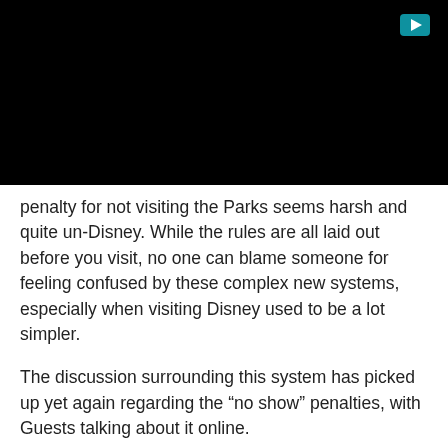[Figure (other): Black video player area with a play button icon in the top right corner]
penalty for not visiting the Parks seems harsh and quite un-Disney. While the rules are all laid out before you visit, no one can blame someone for feeling confused by these complex new systems, especially when visiting Disney used to be a lot simpler.
The discussion surrounding this system has picked up yet again regarding the “no show” penalties, with Guests talking about it online.
See the post below shared by Attractions 360 (@SoCal360):